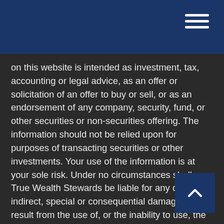on this website is intended as investment, tax, accounting or legal advice, as an offer or solicitation of an offer to buy or sell, or as an endorsement of any company, security, fund, or other securities or non-securities offering. The information should not be relied upon for purposes of transacting securities or other investments. Your use of the information is at your sole risk. Under no circumstances shall True Wealth Stewards be liable for any direct, indirect, special or consequential damages that result from the use of, or the inability to use, the materials in this site, even if True Wealth Stewards or a True Wealth Stewards authorized representative has been advised of the possibility of such damages. In no event shall True Wealth Stewards LLC have any liability to you for damages, losses, and causes of action for accessing this site. Information on this website should not be considered a solicitation to buy, an offer to sell, or a recommendation of any security in any jurisdiction where such offer, solicitation, or recommendation would be unlawful or unauthorized.